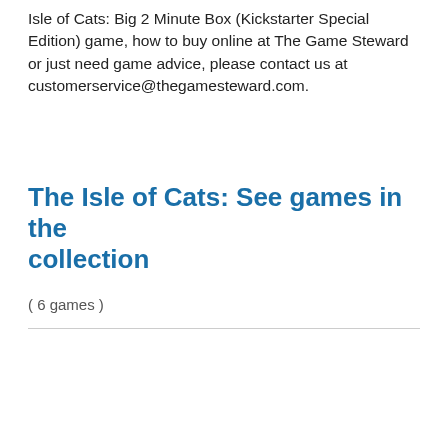Isle of Cats: Big 2 Minute Box (Kickstarter Special Edition) game, how to buy online at The Game Steward or just need game advice, please contact us at customerservice@thegamesteward.com.
The Isle of Cats: See games in the collection
( 6 games )
[Figure (photo): Board game box for The Isle of Cats: Late Arrivals with a green Kickstarter badge (K) on top]
[Figure (photo): Board game box for The Isle of Cats: Kittens & Beasts with a green Kickstarter badge (K) on top]